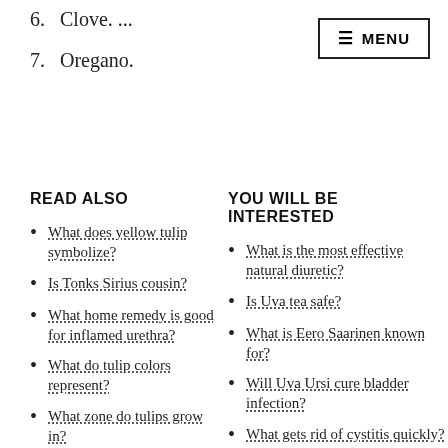6. Clove. ...
7. Oregano.
READ ALSO
What does yellow tulip symbolize?
Is Tonks Sirius cousin?
What home remedy is good for inflamed urethra?
What do tulip colors represent?
What zone do tulips grow in?
YOU WILL BE INTERESTED
What is the most effective natural diuretic?
Is Uva tea safe?
What is Eero Saarinen known for?
Will Uva Ursi cure bladder infection?
What gets rid of cystitis quickly?